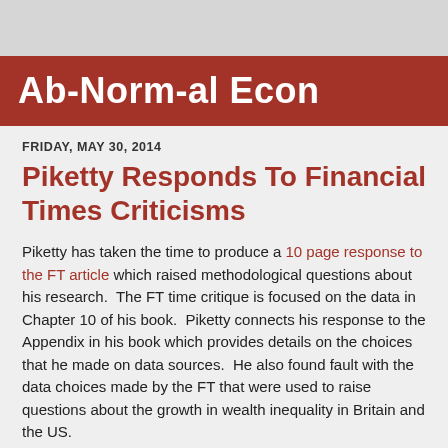Ab-Norm-al Econ
FRIDAY, MAY 30, 2014
Piketty Responds To Financial Times Criticisms
Piketty has taken the time to produce a 10 page response to the FT article which raised methodological questions about his research.  The FT time critique is focused on the data in Chapter 10 of his book.  Piketty connects his response to the Appendix in his book which provides details on the choices that he made on data sources.  He also found fault with the data choices made by the FT that were used to raise questions about the growth in wealth inequality in Britain and the US.
Piketty has provided an excellent response to the FT critique which raises questions about his activity...